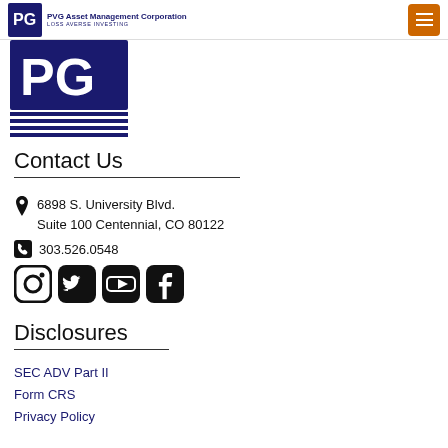PVG Asset Management Corporation — LOSS AVERSE INVESTING
[Figure (logo): PVG Asset Management Corporation logo — large dark navy letters PVG with horizontal lines below]
Contact Us
6898 S. University Blvd. Suite 100 Centennial, CO 80122
303.526.0548
[Figure (infographic): Social media icons: Instagram, Twitter, YouTube, Facebook]
Disclosures
SEC ADV Part II
Form CRS
Privacy Policy